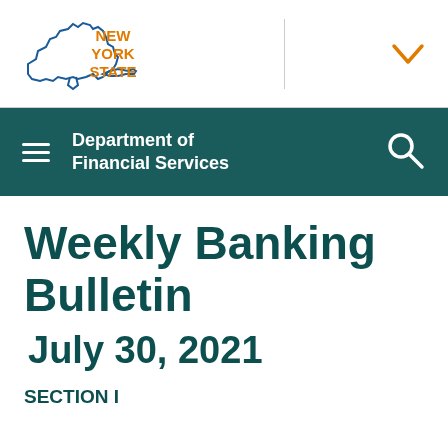[Figure (logo): New York State logo with outline of NY state shape in blue and 'NEW YORK STATE' text in orange]
[Figure (other): Orange chevron/dropdown arrow icon in top right]
[Figure (other): Dark teal navigation bar with hamburger menu, 'Department of Financial Services' text, and search icon]
Weekly Banking Bulletin
July 30, 2021
SECTION I